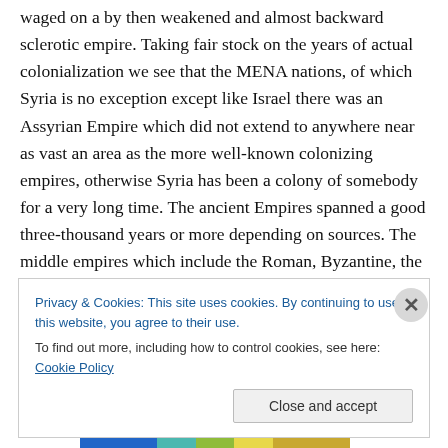waged on a by then weakened and almost backward sclerotic empire. Taking fair stock on the years of actual colonialization we see that the MENA nations, of which Syria is no exception except like Israel there was an Assyrian Empire which did not extend to anywhere near as vast an area as the more well-known colonizing empires, otherwise Syria has been a colony of somebody for a very long time. The ancient Empires spanned a good three-thousand years or more depending on sources. The middle empires which include the Roman, Byzantine, the Caliphate and the Ottoman Empires lasted almost two-
[Figure (other): Cookie consent banner overlay with 'Privacy & Cookies' notice, a link to 'Cookie Policy', and a 'Close and accept' button. A circular close (X) button appears at the top right corner of the banner.]
[Figure (other): Horizontal color bar at the bottom of the page with blue, teal, green, yellow, and gold segments.]